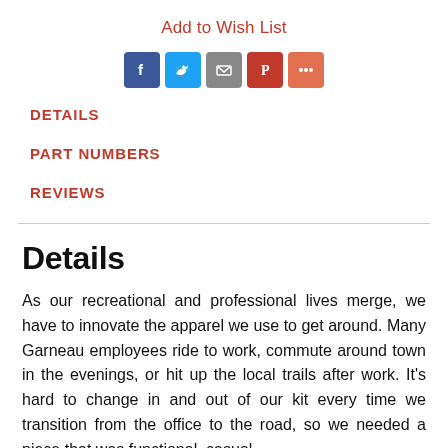Add to Wish List
[Figure (other): Social sharing icons: Facebook, Twitter, Email, Pinterest, More]
DETAILS
PART NUMBERS
REVIEWS
Details
As our recreational and professional lives merge, we have to innovate the apparel we use to get around. Many Garneau employees ride to work, commute around town in the evenings, or hit up the local trails after work. It's hard to change in and out of our kit every time we transition from the office to the road, so we needed a piece that was functional, casual,